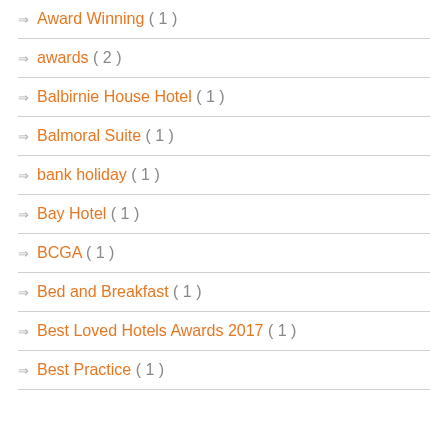Award Winning ( 1 )
awards ( 2 )
Balbirnie House Hotel ( 1 )
Balmoral Suite ( 1 )
bank holiday ( 1 )
Bay Hotel ( 1 )
BCGA ( 1 )
Bed and Breakfast ( 1 )
Best Loved Hotels Awards 2017 ( 1 )
Best Practice ( 1 )